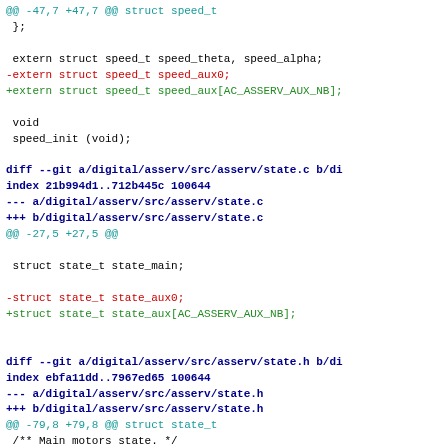@@ -47,7 +47,7 @@ struct speed_t
 };

 extern struct speed_t speed_theta, speed_alpha;
-extern struct speed_t speed_aux0;
+extern struct speed_t speed_aux[AC_ASSERV_AUX_NB];

 void
 speed_init (void);

diff --git a/digital/asserv/src/asserv/state.c b/di
index 21b994d1..712b445c 100644
--- a/digital/asserv/src/asserv/state.c
+++ b/digital/asserv/src/asserv/state.c
@@ -27,5 +27,5 @@

 struct state_t state_main;

-struct state_t state_aux0;
+struct state_t state_aux[AC_ASSERV_AUX_NB];


diff --git a/digital/asserv/src/asserv/state.h b/di
index ebfa11dd..7967ed65 100644
--- a/digital/asserv/src/asserv/state.h
+++ b/digital/asserv/src/asserv/state.h
@@ -79,8 +79,8 @@ struct state_t
 /** Main motors state. */
 extern struct state_t state_main;